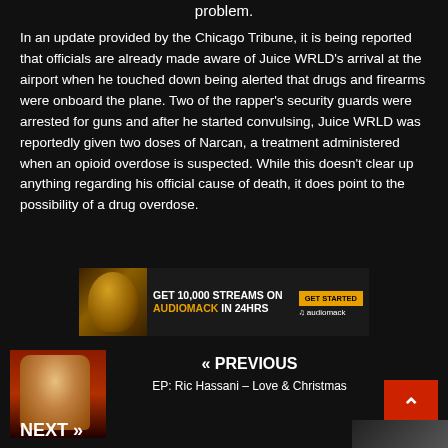problem.
In an update provided by the Chicago Tribune, it is being reported that officials are already made aware of Juice WRLD's arrival at the airport when he touched down being alerted that drugs and firearms were onboard the plane. Two of the rapper's security guards were arrested for guns and after he started convulsing, Juice WRLD was reportedly given two doses of Narcan, a treatment administered when an opioid overdose is suspected. While this doesn't clear up anything regarding his official cause of death, it does point to the possibility of a drug overdose.
[Figure (other): Advertisement banner: GET 10,000 STREAMS ON AUDIOMACK IN 24HRS with GET STARTED button and audiomack logo]
« PREVIOUS
EP: Ric Hassani – Love & Christmas
NEXT »